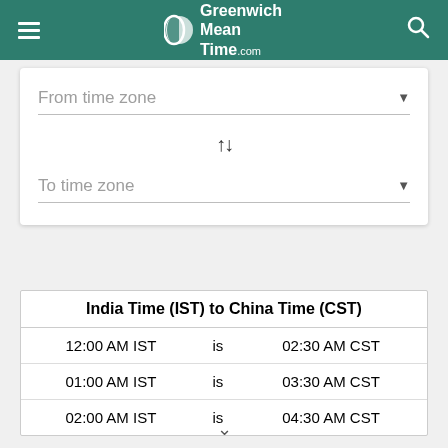Greenwich Mean Time .com
From time zone
To time zone
| India Time (IST) to China Time (CST) |
| --- |
| 12:00 AM IST | is | 02:30 AM CST |
| 01:00 AM IST | is | 03:30 AM CST |
| 02:00 AM IST | is | 04:30 AM CST |